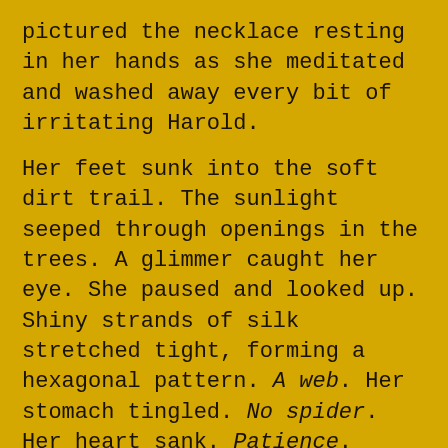pictured the necklace resting in her hands as she meditated and washed away every bit of irritating Harold.

Her feet sunk into the soft dirt trail. The sunlight seeped through openings in the trees. A glimmer caught her eye. She paused and looked up. Shiny strands of silk stretched tight, forming a hexagonal pattern. A web. Her stomach tingled. No spider. Her heart sank. Patience. It'll take hours to reach the top.